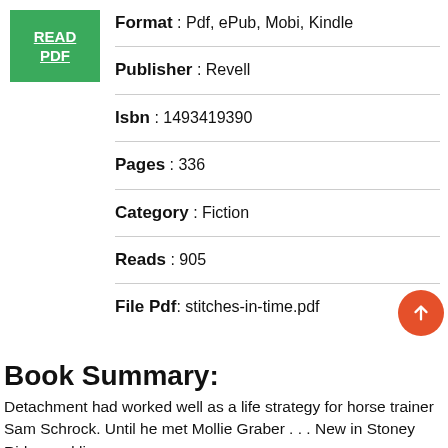[Figure (other): Green READ PDF button with white underlined text]
Format : Pdf, ePub, Mobi, Kindle
Publisher : Revell
Isbn : 1493419390
Pages : 336
Category : Fiction
Reads : 905
File Pdf: stitches-in-time.pdf
Book Summary:
Detachment had worked well as a life strategy for horse trainer Sam Schrock. Until he met Mollie Graber . . . New in Stoney Ridge and li...